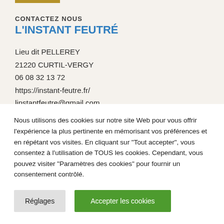CONTACTEZ NOUS
L'INSTANT FEUTRÉ
Lieu dit PELLEREY
21220 CURTIL-VERGY
06 08 32 13 72
https://instant-feutre.fr/
linstantfeutre@gmail.com
Nous utilisons des cookies sur notre site Web pour vous offrir l'expérience la plus pertinente en mémorisant vos préférences et en répétant vos visites. En cliquant sur "Tout accepter", vous consentez à l'utilisation de TOUS les cookies. Cependant, vous pouvez visiter "Paramètres des cookies" pour fournir un consentement contrôlé.
Réglages
Accepter les cookies